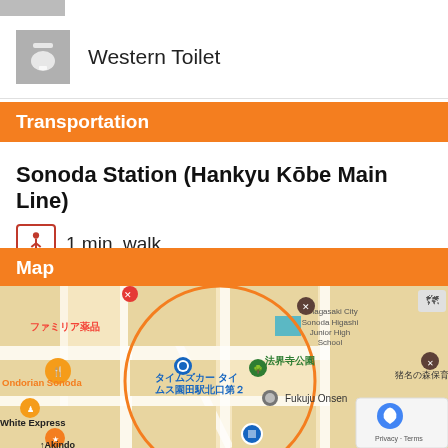[Figure (infographic): Gray toilet/restroom icon on gray background square]
Western Toilet
Transportation
Sonoda Station (Hankyu Kōbe Main Line)
1 min. walk
Map
[Figure (map): Google Maps view showing Sonoda area with Japanese labels including ファミリア薬品, Ondorian Sonoda, White Express, Akindo, タイムズカー タイムス園田駅北口第２, 法界寺公園, Fukuju Onsen, Amagasaki City Sonoda Higashi Junior High School, 猪名の森保育, Welcia. A circular orange boundary is drawn around the central area.]